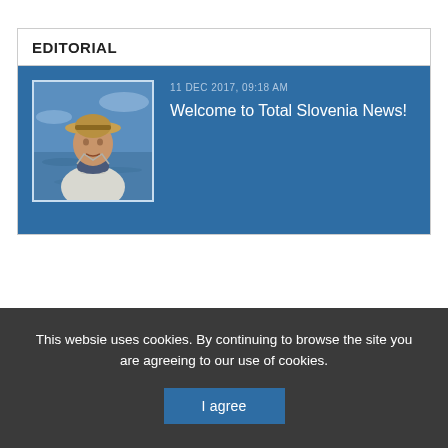EDITORIAL
[Figure (photo): Photo of an older man wearing a straw hat, dressed in a light jacket with a scarf, outdoors near water]
11 DEC 2017, 09:18 AM
Welcome to Total Slovenia News!
This websie uses cookies. By continuing to browse the site you are agreeing to our use of cookies.
I agree